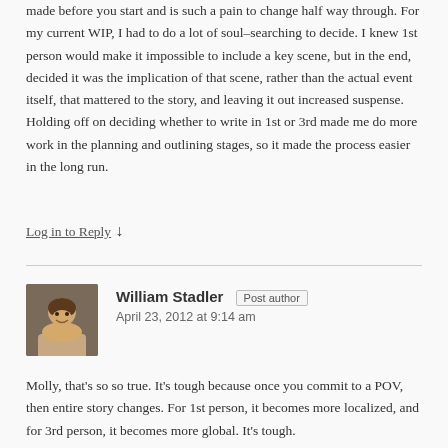made before you start and is such a pain to change half way through. For my current WIP, I had to do a lot of soul-searching to decide. I knew 1st person would make it impossible to include a key scene, but in the end, decided it was the implication of that scene, rather than the actual event itself, that mattered to the story, and leaving it out increased suspense. Holding off on deciding whether to write in 1st or 3rd made me do more work in the planning and outlining stages, so it made the process easier in the long run.
Log in to Reply ↓
William Stadler  Post author
April 23, 2012 at 9:14 am
Molly, that's so so true. It's tough because once you commit to a POV, then entire story changes. For 1st person, it becomes more localized, and for 3rd person, it becomes more global. It's tough.